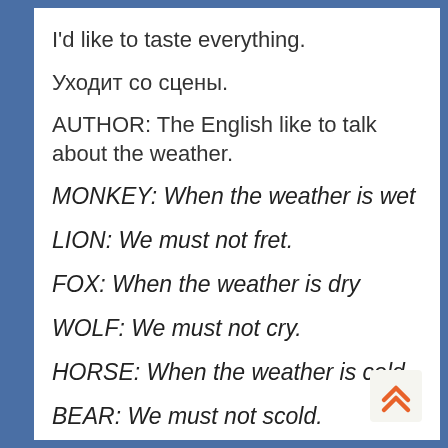I'd like to taste everything.
Уходит со сцены.
AUTHOR: The English like to talk about the weather.
MONKEY: When the weather is wet
LION: We must not fret.
FOX: When the weather is dry
WOLF: We must not cry.
HORSE: When the weather is cold
BEAR: We must not scold.
HEN: When the weather is warm